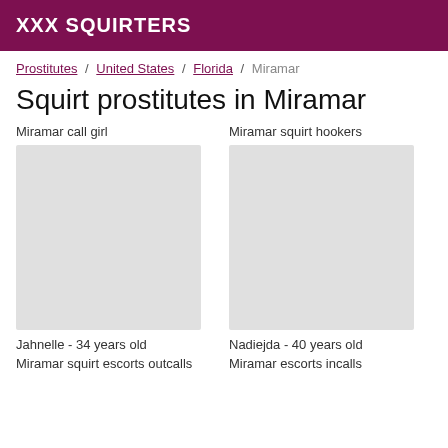XXX SQUIRTERS
Prostitutes / United States / Florida / Miramar
Squirt prostitutes in Miramar
Miramar call girl
[Figure (photo): Photo placeholder for Jahnelle]
Jahnelle - 34 years old
Miramar squirt escorts outcalls
Miramar squirt hookers
[Figure (photo): Photo placeholder for Nadiejda]
Nadiejda - 40 years old
Miramar escorts incalls